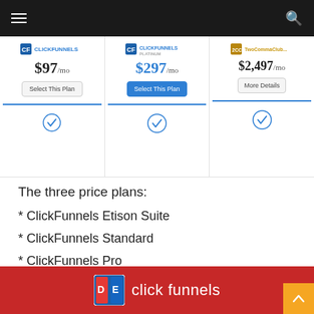Navigation bar with hamburger menu and search icon
[Figure (screenshot): Pricing comparison strip showing three plans: ClickFunnels $97/mo with 'Select This Plan' button, ClickFunnels Platinum $297/mo with active blue 'Select This Plan' button, TwoCommaClub $2,497/mo with 'More Details' button. Each column has a checkmark circle below the divider.]
The three price plans:
* ClickFunnels Etison Suite
* ClickFunnels Standard
* ClickFunnels Pro
[Figure (logo): ClickFunnels red banner with logo and wordmark]